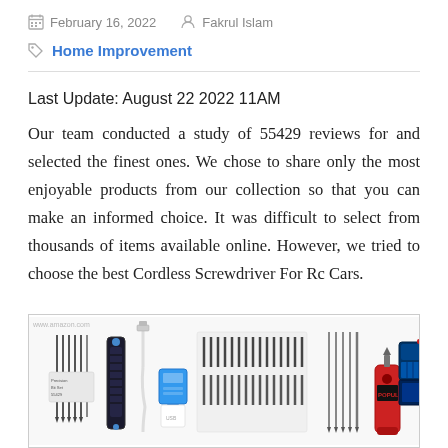February 16, 2022   Fakrul Islam
Home Improvement
Last Update: August 22 2022 11AM
Our team conducted a study of 55429 reviews for and selected the finest ones. We chose to share only the most enjoyable products from our collection so that you can make an informed choice. It was difficult to select from thousands of items available online. However, we tried to choose the best Cordless Screwdriver For Rc Cars.
[Figure (photo): Product image showing multiple cordless screwdriver sets and accessories including screwdriver handles, bits, and cases]